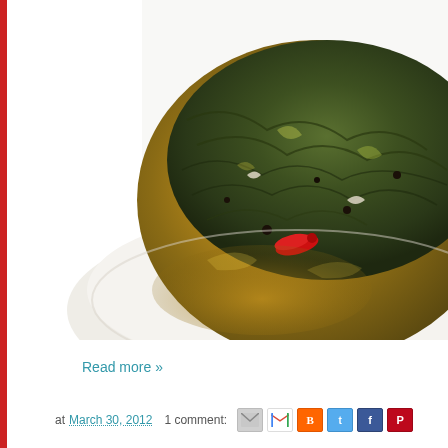[Figure (photo): Close-up photo of a dish — a bowl or plate containing braised or stewed dark green vegetables (likely seaweed or greens) in a golden-brown broth with a red chili pepper, served on a white plate. The image is taken from a low angle, emphasizing the golden broth and glistening vegetables.]
Read more »
at March 30, 2012   1 comment: